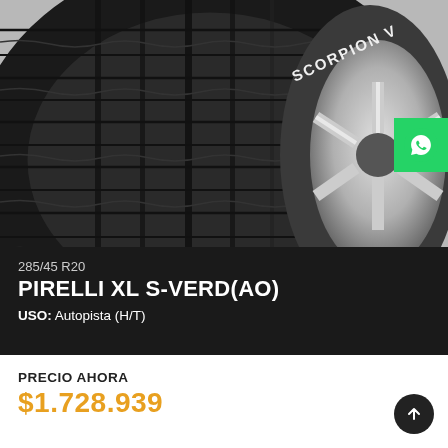[Figure (photo): Close-up photo of a Pirelli Scorpion Verde tire mounted on an alloy wheel, showing tread pattern and sidewall with 'SCORPION V' text visible]
285/45 R20
PIRELLI XL S-VERD(AO)
USO: Autopista (H/T)
PRECIO AHORA
$1.728.939